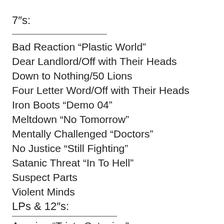7″s:
Bad Reaction “Plastic World”
Dear Landlord/Off with Their Heads
Down to Nothing/50 Lions
Four Letter Word/Off with Their Heads
Iron Boots “Demo 04”
Meltdown “No Tomorrow”
Mentally Challenged “Doctors”
No Justice “Still Fighting”
Satanic Threat “In To Hell”
Suspect Parts
Violent Minds
LPs & 12″s:
Asesino “Tristo Satanica”
Autonomia “Competition Games”